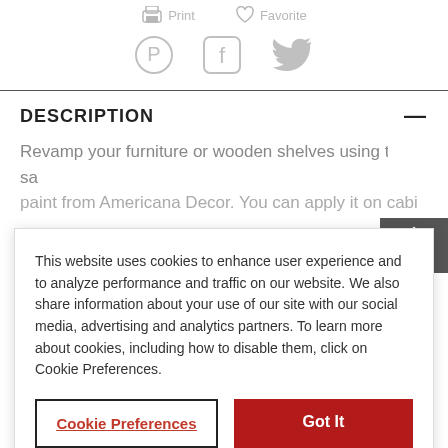[Figure (other): Print and Favorite action icons with printer and heart symbols in gray]
[Figure (other): Social media icons: Pinterest, Facebook, Twitter in gray]
DESCRIPTION
Revamp your furniture or wooden shelves using this sa... paint from Americana Decor. You can apply it on cabi...
This website uses cookies to enhance user experience and to analyze performance and traffic on our website. We also share information about your use of our site with our social media, advertising and analytics partners. To learn more about cookies, including how to disable them, click on Cookie Preferences.
Cookie Preferences
Got It
Nontoxic